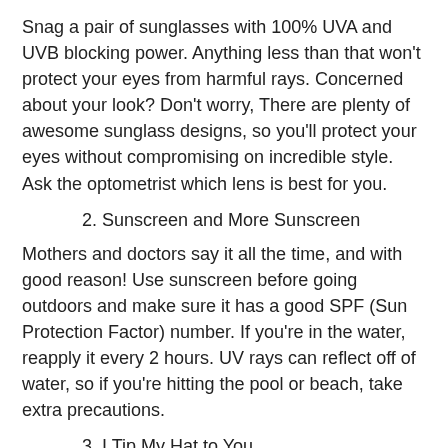Snag a pair of sunglasses with 100% UVA and UVB blocking power. Anything less than that won't protect your eyes from harmful rays. Concerned about your look? Don't worry, There are plenty of awesome sunglass designs, so you'll protect your eyes without compromising on incredible style. Ask the optometrist which lens is best for you.
2. Sunscreen and More Sunscreen
Mothers and doctors say it all the time, and with good reason! Use sunscreen before going outdoors and make sure it has a good SPF (Sun Protection Factor) number. If you're in the water, reapply it every 2 hours. UV rays can reflect off of water, so if you're hitting the pool or beach, take extra precautions.
3. I Tip My Hat to You
Protect your head and the skin on your scalp with a hat. A wide-brimmed hat is best for a good amount of sun-blocking coverage, since it also protects the tops of your eyes which might not be shaded by your sunglasses, and is too sensitive for sunscreen. For the fashion-conscious, there are endless styles to choose